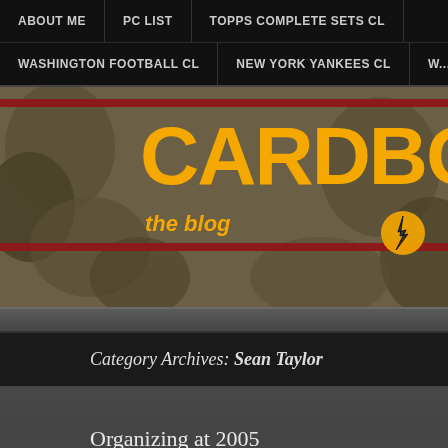ABOUT ME | PC LIST | TOPPS COMPLETE SETS CL | WASHINGTON FOOTBALL CL | NEW YORK YANKEES CL | W...
[Figure (logo): Cardboard Hogs blog banner with large yellow text 'CARDBOARD H' on a camouflage background with red stripes, subtitle 'the blog' in yellow italic]
Category Archives: Sean Taylor
Organizing at 2005
Posted by cardboard hogs on December 22, 2020